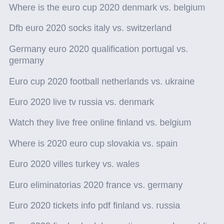Where is the euro cup 2020 denmark vs. belgium
Dfb euro 2020 socks italy vs. switzerland
Germany euro 2020 qualification portugal vs. germany
Euro cup 2020 football netherlands vs. ukraine
Euro 2020 live tv russia vs. denmark
Watch they live free online finland vs. belgium
Where is 2020 euro cup slovakia vs. spain
Euro 2020 villes turkey vs. wales
Euro eliminatorias 2020 france vs. germany
Euro 2020 tickets info pdf finland vs. russia
Euro 2020 final schedule croatia vs. czech republic